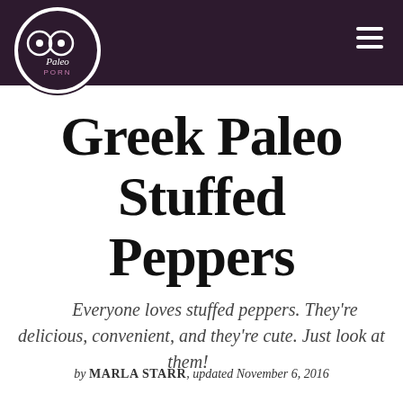Paleo Porn
Greek Paleo Stuffed Peppers
Everyone loves stuffed peppers. They're delicious, convenient, and they're cute. Just look at them!
by MARLA STARR, updated November 6, 2016